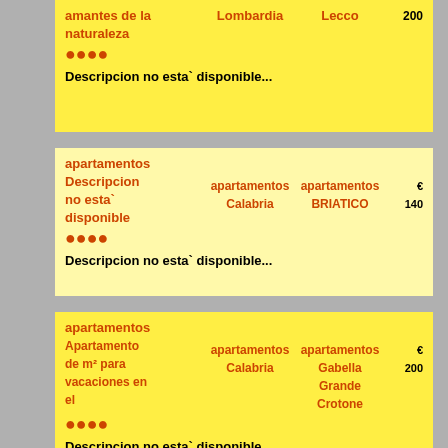| amantes de la naturaleza | Lombardia | Lecco | 200 | 9,9 |
●●●●
Descripcion no esta` disponible...
| apartamentos Descripcion no esta` disponible | apartamentos Calabria | apartamentos BRIATICO | € 140 | 9,9 |
●●●●
Descripcion no esta` disponible...
| apartamentos Apartamento de m² para vacaciones en el | apartamentos Calabria | apartamentos Gabella Grande Crotone | € 200 | 9,9 |
●●●●
Descripcion no esta` disponible